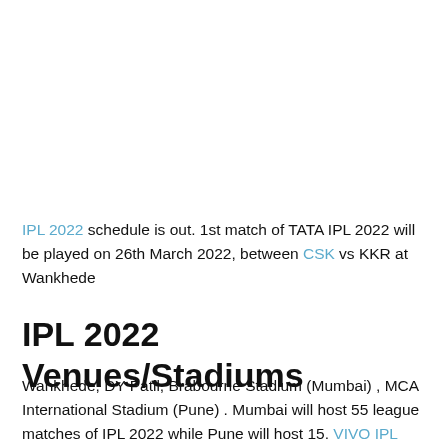IPL 2022 schedule is out. 1st match of TATA IPL 2022 will be played on 26th March 2022, between CSK vs KKR at Wankhede
IPL 2022 Venues/Stadiums
Wankhede, DY Patil, Brabourne Stadium (Mumbai) , MCA International Stadium (Pune) . Mumbai will host 55 league matches of IPL 2022 while Pune will host 15. VIVO IPL 2021 defending champions CSK will play their first match with last season's finalist